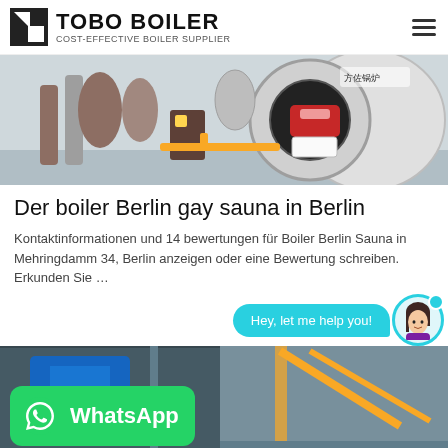[Figure (logo): Tobo Boiler logo with icon and tagline COST-EFFECTIVE BOILER SUPPLIER]
[Figure (photo): Industrial boiler room with large cylindrical boiler, pipes, pumps, and water treatment equipment]
Der boiler Berlin gay sauna in Berlin
Kontaktinformationen und 14 bewertungen für Boiler Berlin Sauna in Mehringdamm 34, Berlin anzeigen oder eine Bewertung schreiben. Erkunden Sie …
[Figure (infographic): Chat widget with cyan speech bubble saying 'Hey, let me help you!' and avatar of a woman in a cyan circle]
[Figure (photo): Industrial boiler room with blue equipment and yellow crane structure, overlaid with WhatsApp green badge]